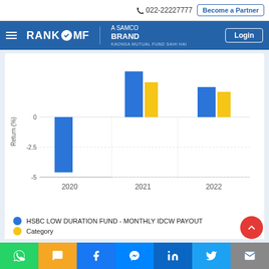022-22227777  Become a Partner
RANK MF A SAMCO BRAND — Login
[Figure (grouped-bar-chart): Return (%) by Year]
HSBC LOW DURATION FUND - MONTHLY IDCW PAYOUT
Category